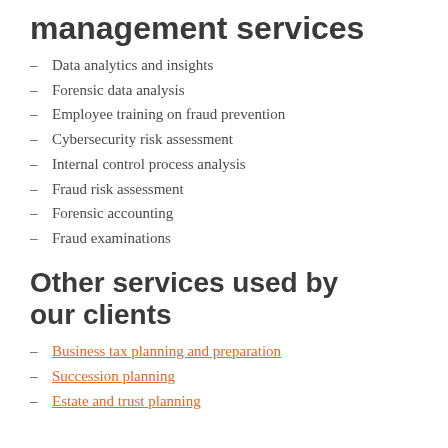management services
Data analytics and insights
Forensic data analysis
Employee training on fraud prevention
Cybersecurity risk assessment
Internal control process analysis
Fraud risk assessment
Forensic accounting
Fraud examinations
Other services used by our clients
Business tax planning and preparation
Succession planning
Estate and trust planning